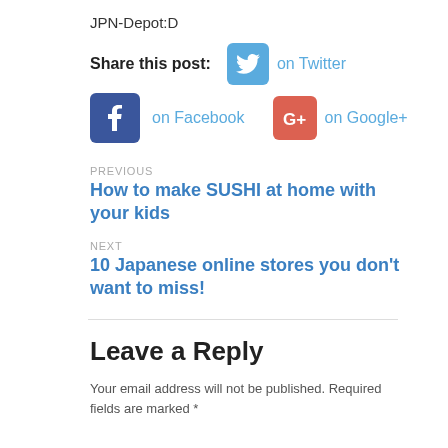JPN-Depot:D
Share this post:   on Twitter   on Facebook   on Google+
PREVIOUS
How to make SUSHI at home with your kids
NEXT
10 Japanese online stores you don't want to miss!
Leave a Reply
Your email address will not be published. Required fields are marked *